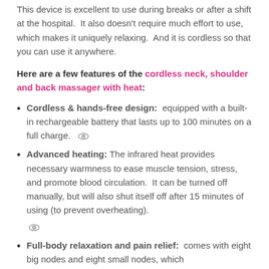This device is excellent to use during breaks or after a shift at the hospital.  It also doesn't require much effort to use, which makes it uniquely relaxing.  And it is cordless so that you can use it anywhere.
Here are a few features of the cordless neck, shoulder and back massager with heat:
Cordless & hands-free design:  equipped with a built-in rechargeable battery that lasts up to 100 minutes on a full charge.
Advanced heating: The infrared heat provides necessary warmness to ease muscle tension, stress, and promote blood circulation.  It can be turned off manually, but will also shut itself off after 15 minutes of using (to prevent overheating).
Full-body relaxation and pain relief:  comes with eight big nodes and eight small nodes, which